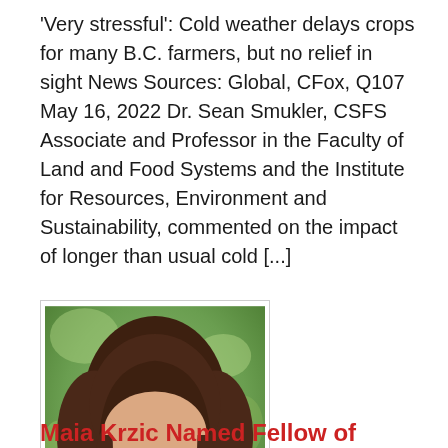'Very stressful': Cold weather delays crops for many B.C. farmers, but no relief in sight News Sources: Global, CFox, Q107 May 16, 2022 Dr. Sean Smukler, CSFS Associate and Professor in the Faculty of Land and Food Systems and the Institute for Resources, Environment and Sustainability, commented on the impact of longer than usual cold [...]
[Figure (photo): Portrait photo of a woman with dark shoulder-length hair, glasses, and a smile, photographed against a blurred green background.]
Maia Krzic Named Fellow of